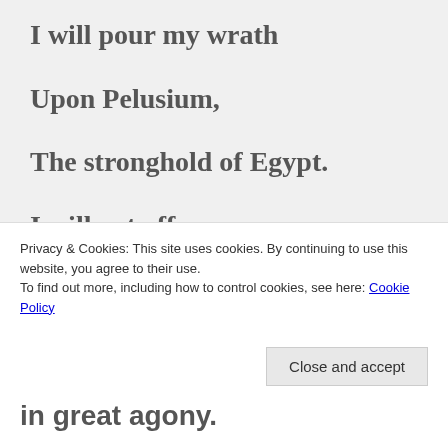I will pour my wrath
Upon Pelusium,
The stronghold of Egypt.
I will cut off
The hordes of Thebes.
I will set fire
Privacy & Cookies: This site uses cookies. By continuing to use this website, you agree to their use.
To find out more, including how to control cookies, see here: Cookie Policy
in great agony.